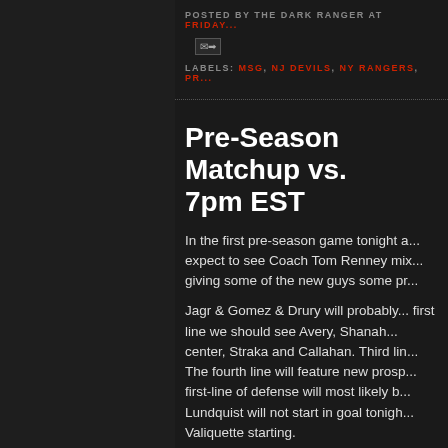POSTED BY THE DARK RANGER AT FRIDAY...
LABELS: MSG, NJ DEVILS, NY RANGERS, PR...
Pre-Season Matchup vs. ... 7pm EST
In the first pre-season game tonight a... expect to see Coach Tom Renney mix... giving some of the new guys some pr...
Jagr & Gomez & Drury will probably... first line we should see Avery, Shanah... center, Straka and Callahan. Third lin... The fourth line will feature new prosp... first-line of defense will most likely b... Lundquist will not start in goal tonigh... Valiquette starting.
It's hockey time in NYC - the buzz...